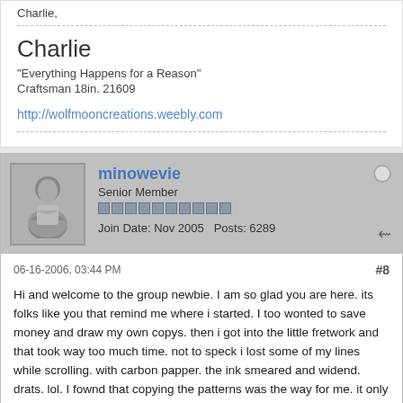Charlie,
Charlie
"Everything Happens for a Reason"
Craftsman 18in. 21609
http://wolfmooncreations.weebly.com
minowevie
Senior Member
Join Date: Nov 2005  Posts: 6289
06-16-2006, 03:44 PM
#8
Hi and welcome to the group newbie. I am so glad you are here. its folks like you that remind me where i started. I too wonted to save money and draw my own copys. then i got into the little fretwork and that took way too much time. not to speck i lost some of my lines while scrolling. with carbon papper. the ink smeared and widend. drats. lol. I fownd that copying the patterns was the way for me. it only cost like 18 sence per copy at staples. of course I had to drive there to get it done. but after awhile i had more projects to copy and it was worth the drive. it also gave me time to let it lye. and come back to it when i wonted too.